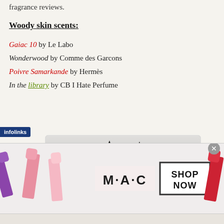fragrance reviews.
Woody skin scents:
Gaiac 10 by Le Labo
Wonderwood by Comme des Garcons
Poivre Samarkande by Hermès
In the library by CB I Hate Perfume
[Figure (photo): Black and white photo of a goat with horns looking at the camera]
[Figure (photo): M·A·C cosmetics advertisement showing lipsticks in various colors with SHOP NOW button]